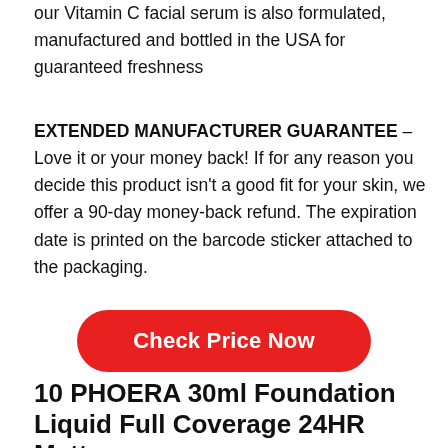our Vitamin C facial serum is also formulated, manufactured and bottled in the USA for guaranteed freshness
EXTENDED MANUFACTURER GUARANTEE – Love it or your money back! If for any reason you decide this product isn't a good fit for your skin, we offer a 90-day money-back refund. The expiration date is printed on the barcode sticker attached to the packaging.
[Figure (other): Red rounded rectangle button with white text reading 'Check Price Now']
10 PHOERA 30ml Foundation Liquid Full Coverage 24HR Matte